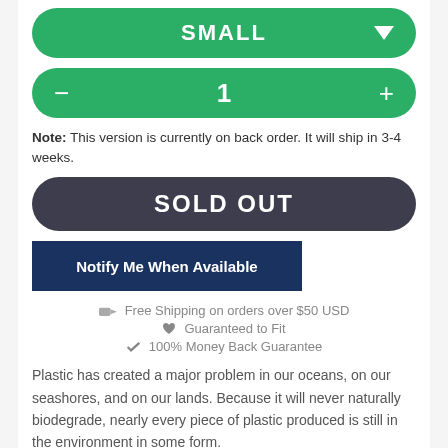[Figure (other): Green pill-shaped dropdown button displaying 'SMALL' with a white downward arrow on the right]
[Figure (other): Green pill-shaped quantity stepper with minus on left, '1' in center, plus on right]
Note: This version is currently on back order. It will ship in 3-4 weeks.
[Figure (other): Dark gray pill-shaped button with text 'SOLD OUT' in white bold uppercase]
[Figure (other): Dark navy blue rectangular button with text 'Notify Me When Available' in white bold]
🚚 Free Shipping on orders over $50 USD
🖤 Guaranteed to Fit
👍 100% Money Back Guarantee
Plastic has created a major problem in our oceans, on our seashores, and on our lands. Because it will never naturally biodegrade, nearly every piece of plastic produced is still in the environment in some form.